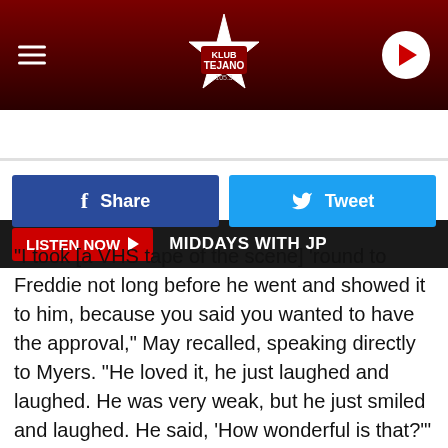[Figure (logo): Klub Tejano 105.3 radio station logo — dark red header bar with hamburger menu on left, star-shaped logo in center, circular play button on right]
LISTEN NOW ▶   MIDDAYS WITH JP
[Figure (infographic): Facebook Share button (blue) and Twitter Tweet button (light blue) side by side]
“I took [a VHS tape of the scene] ‘round to Freddie not long before he went and showed it to him, because you said you wanted to have the approval,” May recalled, speaking directly to Myers. “He loved it, he just laughed and laughed. He was very weak, but he just smiled and laughed. He said, ‘How wonderful is that?’”
Other highlights from the reunion included the SNL alums discussing the origins of their Wanye and Garth characters, actress Tia Carerre reflecting upon her memorable role as Cassandra and actor Rob Lowe revealing how he got